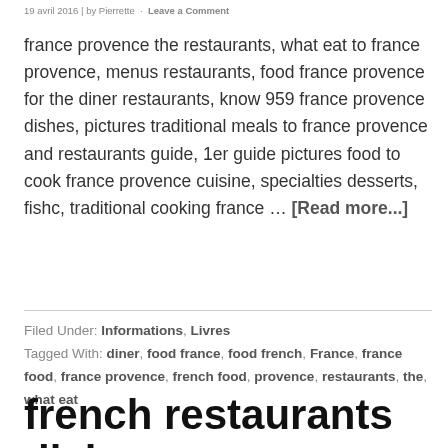19 avril 2016 | by Pierrette · Leave a Comment
france provence the restaurants, what eat to france provence, menus restaurants, food france provence for the diner restaurants, know 959 france provence dishes, pictures traditional meals to france provence and restaurants guide, 1er guide pictures food to cook france provence cuisine, specialties desserts, fishc, traditional cooking france … [Read more...]
Filed Under: Informations, Livres
Tagged With: diner, food france, food french, France, france food, france provence, french food, provence, restaurants, the, what eat
french restaurants dishes